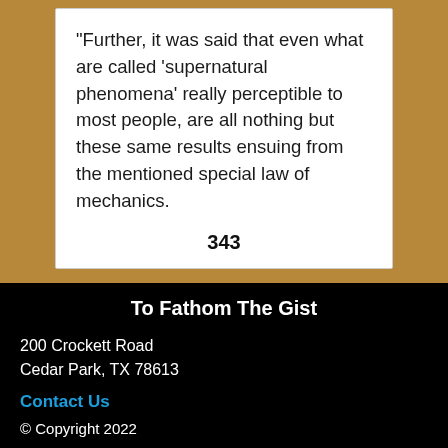“Further, it was said that even what are called ‘supernatural phenomena’ really perceptible to most people, are all nothing but these same results ensuing from the mentioned special law of mechanics.
343
To Fathom The Gist
200 Crockett Road
Cedar Park, TX 78613
Contact Us
© Copyright 2022